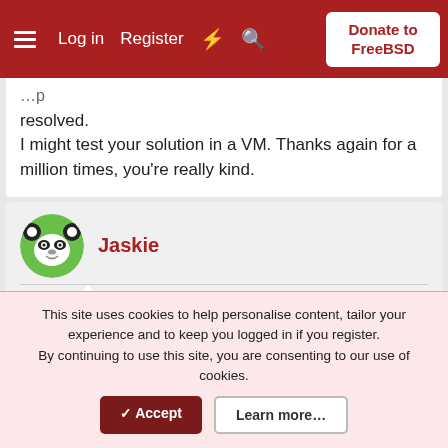Log in  Register  Donate to FreeBSD
resolved.
I might test your solution in a VM. Thanks again for a million times, you're really kind.
Jaskie
Oct 3, 2021  Thread Starter  #20
VladiBG So I did some tests today in a FreeBSD VM. Almost the the same partition scheme as my laptop, just to test if the swap got cleared was the reason.
This site uses cookies to help personalise content, tailor your experience and to keep you logged in if you register.
By continuing to use this site, you are consenting to our use of cookies.